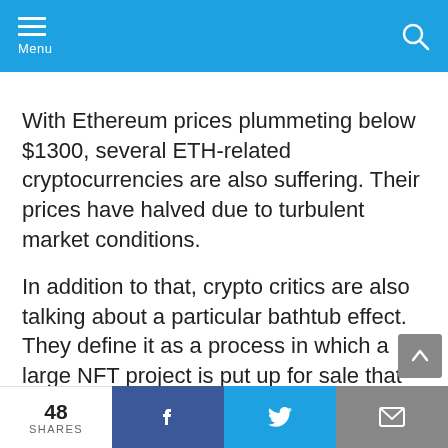Menu
With Ethereum prices plummeting below $1300, several ETH-related cryptocurrencies are also suffering. Their prices have halved due to turbulent market conditions.
In addition to that, crypto critics are also talking about a particular bathtub effect. They define it as a process in which a large NFT project is put up for sale that indirectly affects the prices of other NFT projects. This is because investors are trying to sell those NFT positions to free up currency to buy the new NFT.
48 SHARES